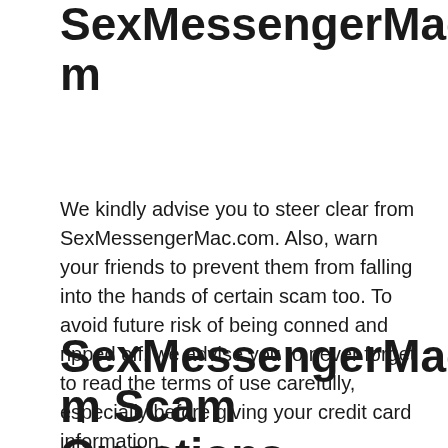The Verdict on SexMessengerMac.com
We kindly advise you to steer clear from SexMessengerMac.com. Also, warn your friends to prevent them from falling into the hands of certain scam too. To avoid future risk of being conned and ripped off, we advise you to never forget to read the terms of use carefully, especially before giving your credit card information.
SexMessengerMac.com Scam Questions